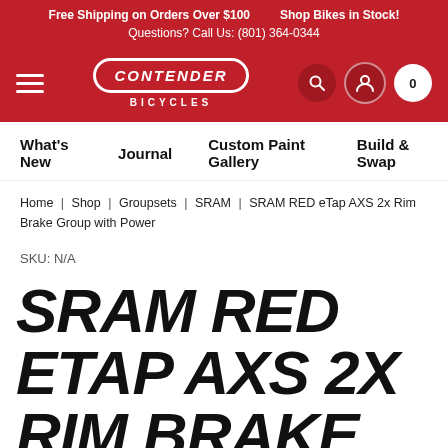Free Shipping on Orders Over $100   Shop Bikes in Stock!
Questions? Call Us: (801) 364-0344
[Figure (logo): Contender Bicycles logo — white pill-shaped badge with italic CONTENDER text, BICYCLES subtitle below, hamburger menu icon to the left, search/user/cart icons to the right, all on red background]
What's New   Journal   Custom Paint Gallery   Build & Swap
Home | Shop | Groupsets | SRAM | SRAM RED eTap AXS 2x Rim Brake Group with Power
SKU: N/A
SRAM RED ETAP AXS 2X RIM BRAKE GROUP